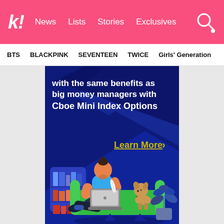k! News  Lists  Stories  Exclusives
BTS  BLACKPINK  SEVENTEEN  TWICE  Girls' Generation
[Figure (illustration): Advertisement banner for Cboe Mini Index Options. Dark blue background with geometric shapes. Illustration of a man sitting on a green couch with a laptop, a dog beside him, a bookshelf on the left, and a plant on the right. Text reads: 'with the same benefits as big money managers with Cboe Mini Index Options' and 'Learn More ›']